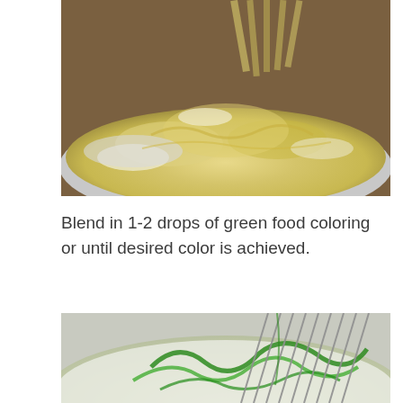[Figure (photo): Close-up photo of a mixing bowl with pale yellow batter being whisked, showing a wire whisk mixing the batter]
Blend in 1-2 drops of green food coloring or until desired color is achieved.
[Figure (photo): Close-up photo of a mixing bowl showing white batter with green food coloring being blended in with a wire whisk, creating green swirls]